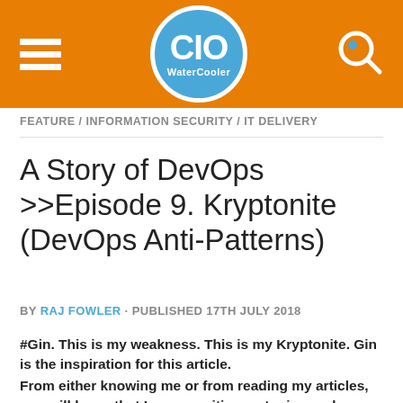CIO WaterCooler
FEATURE / INFORMATION SECURITY / IT DELIVERY
A Story of DevOps >>Episode 9. Kryptonite (DevOps Anti-Patterns)
BY RAJ FOWLER · PUBLISHED 17TH JULY 2018
#Gin. This is my weakness. This is my Kryptonite. Gin is the inspiration for this article.
From either knowing me or from reading my articles, you will know that I am a positive, outgoing and passionate individual. I have an inbuilt anti-